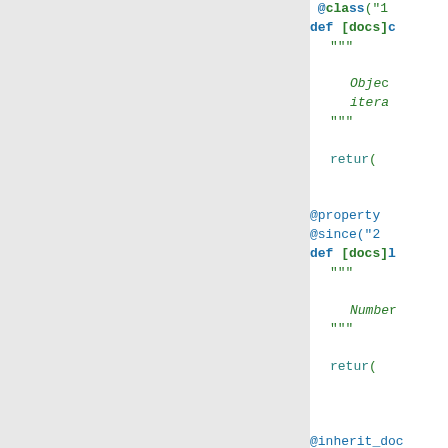Source code snippet showing Python class definitions with decorators, docstrings, properties, and return statements in a code viewer. Visible content includes: @since decorators, def [docs] methods, docstrings with 'Object itera...', 'Numbe...', 'Binary Lo...', return statements, @property decorators, @inherit_doc, class [docs]Lo... definition, and '.. note::' and '.. versio...' RST directives.